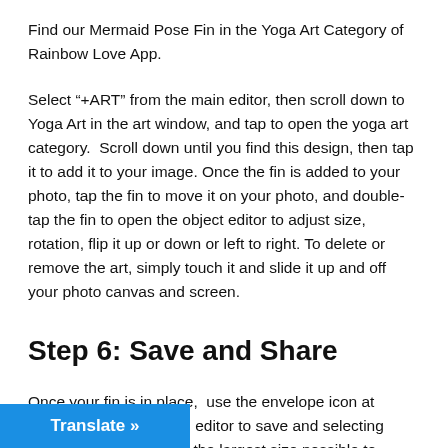Find our Mermaid Pose Fin in the Yoga Art Category of Rainbow Love App.
Select “+ART” from the main editor, then scroll down to Yoga Art in the art window, and tap to open the yoga art category. Scroll down until you find this design, then tap it to add it to your image. Once the fin is added to your photo, tap the fin to move it on your photo, and double-tap the fin to open the object editor to adjust size, rotation, flip it up or down or left to right. To delete or remove the art, simply touch it and slide it up and off your photo canvas and screen.
Step 6: Save and Share
Once your fin is in place, use the envelope icon at bottom right of the main editor to save and selecting sharing options. Select the largest size possible to ensure the best quality of your